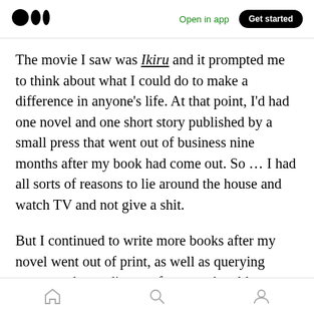Medium logo | Open in app | Get started
The movie I saw was Ikiru and it prompted me to think about what I could do to make a difference in anyone's life. At that point, I'd had one novel and one short story published by a small press that went out of business nine months after my book had come out. So … I had all sorts of reasons to lie around the house and watch TV and not give a shit.
But I continued to write more books after my novel went out of print, as well as querying agents and attending conferences the old-
Home | Search | Profile